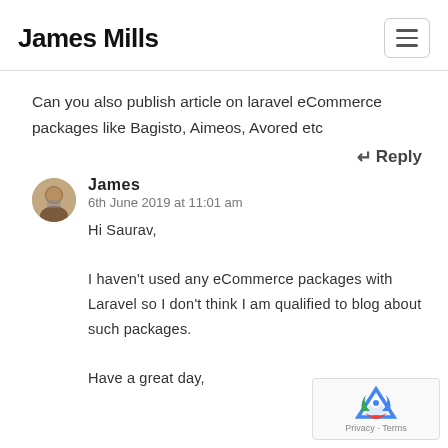James Mills
Can you also publish article on laravel eCommerce packages like Bagisto, Aimeos, Avored etc
↵ Reply
James
6th June 2019 at 11:01 am

Hi Saurav,

I haven't used any eCommerce packages with Laravel so I don't think I am qualified to blog about such packages.

Have a great day,